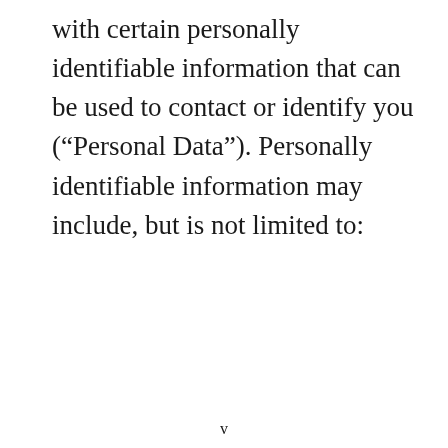with certain personally identifiable information that can be used to contact or identify you (“Personal Data”). Personally identifiable information may include, but is not limited to:
v